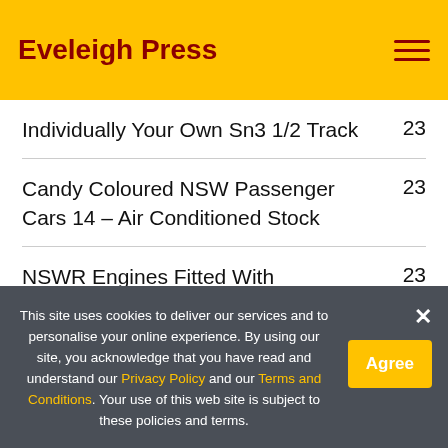Eveleigh Press
Individually Your Own Sn3 1/2 Track    23
Candy Coloured NSW Passenger Cars 14 – Air Conditioned Stock    23
NSWR Engines Fitted With    23
This site uses cookies to deliver our services and to personalise your online experience. By using our site, you acknowledge that you have read and understand our Privacy Policy and our Terms and Conditions. Your use of this web site is subject to these policies and terms.